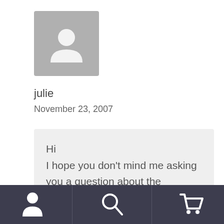[Figure (illustration): Gray placeholder avatar icon with person silhouette on gray background]
julie
November 23, 2007
Hi
I hope you don't mind me asking you a question about the Chevron Lace Top from Debbie Bliss wish you were here.
I ordered the book and yarn from
[Figure (infographic): Dark bottom navigation bar with person icon, search icon, and shopping cart icon]